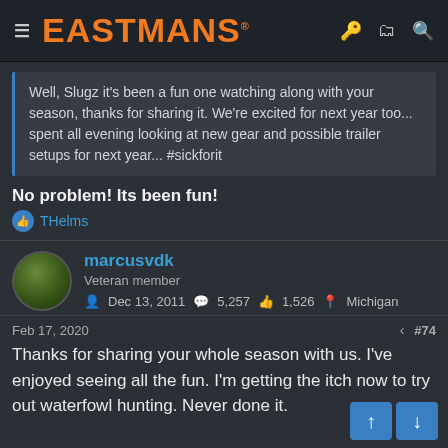EASTMANS
Well, Slugz it's been a fun one watching along with your season, thanks for sharing it. We're excited for next year too... spent all evening looking at new gear and possible trailer setups for next year... #sickforit
No problem! Its been fun!
THelms
marcusvdk
Veteran member
Dec 13, 2011  5,257  1,526  Michigan
Feb 17, 2020  #74
Thanks for sharing your whole season with us. I've enjoyed seeing all the fun. I'm getting the itch now to try out waterfowl hunting. Never done it.